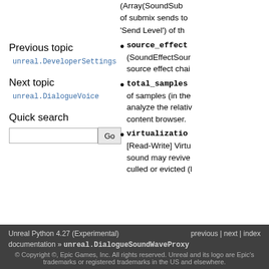(Array(SoundSub... of submix sends to... 'Send Level') of th...
source_effect... (SoundEffectSour... source effect chai...
total_samples... of samples (in the... analyze the relativ... content browser.
virtualizatio... [Read-Write] Virtu... sound may revive... culled or evicted (l...
Previous topic
unreal.DeveloperSettings
Next topic
unreal.DialogueVoice
Quick search
Unreal Python 4.27 (Experimental)  previous | next | index  documentation » unreal.DialogueSoundWaveProxy  © Copyright ©, Epic Games, Inc. All rights reserved. Unreal and its logo are Epic's trademarks or registered trademarks in the US and elsewhere.